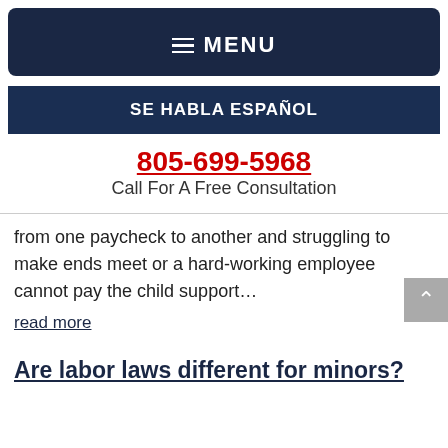≡ MENU
SE HABLA ESPAÑOL
805-699-5968
Call For A Free Consultation
from one paycheck to another and struggling to make ends meet or a hard-working employee cannot pay the child support…
read more
Are labor laws different for minors?